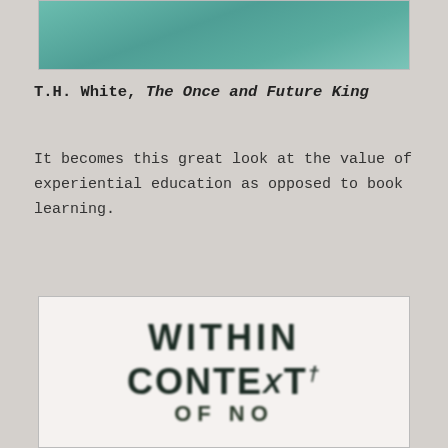[Figure (photo): Top portion of a book cover with teal/green background color]
T.H. White, The Once and Future King
It becomes this great look at the value of experiential education as opposed to book learning.
[Figure (photo): Book cover showing text: WITHIN CONTEXT OF NO in large bold black letters on light background]